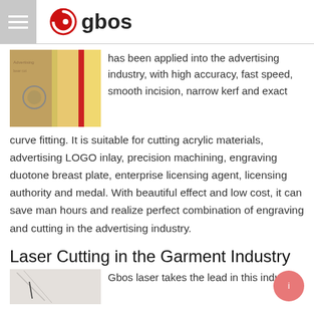gbos (logo with hamburger menu)
[Figure (photo): Product image showing laser-cut acrylic advertising materials with colored strips]
has been applied into the advertising industry, with high accuracy, fast speed, smooth incision, narrow kerf and exact curve fitting. It is suitable for cutting acrylic materials, advertising LOGO inlay, precision machining, engraving duotone breast plate, enterprise licensing agent, licensing authority and medal. With beautiful effect and low cost, it can save man hours and realize perfect combination of engraving and cutting in the advertising industry.
Laser Cutting in the Garment Industry
[Figure (photo): Photo of laser cutting process on fabric/garment material]
Gbos laser takes the lead in this industry